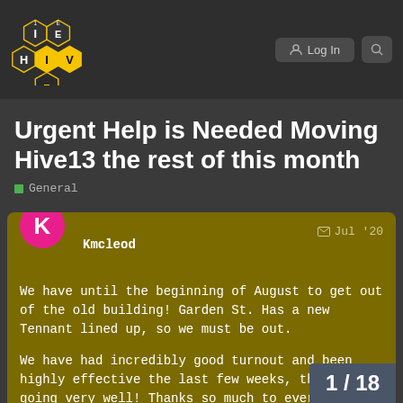HIVE — Log In
Urgent Help is Needed Moving Hive13 the rest of this month
General
Kmcleod — Jul '20
We have until the beginning of August to get out of the old building! Garden St. Has a new Tennant lined up, so we must be out.

We have had incredibly good turnout and been highly effective the last few weeks, things are going very well! Thanks so much to everyone who has been helping, you are incredible!

We understand that this weekend weekend, so turnout may be low
1 / 18